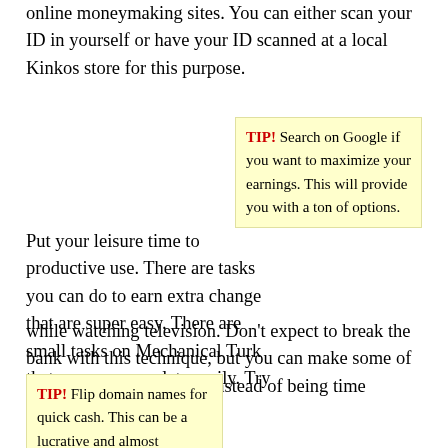online moneymaking sites. You can either scan your ID in yourself or have your ID scanned at a local Kinkos store for this purpose.
Put your leisure time to productive use. There are tasks you can do to earn extra change that are super easy. There are small tasks on Mechanical Turk that you can complete easily. Try doing these while watching television. Don't expect to break the bank with this technique, but you can make some of your time online pay off instead of being time completely wasted.
TIP! Search on Google if you want to maximize your earnings. This will provide you with a ton of options.
TIP! Flip domain names for quick cash. This can be a lucrative and almost effortless way to make
Think about what an hour of your time is actually worth to you before you get started. How much can you make before you're losing money? You won't make more, if you settle